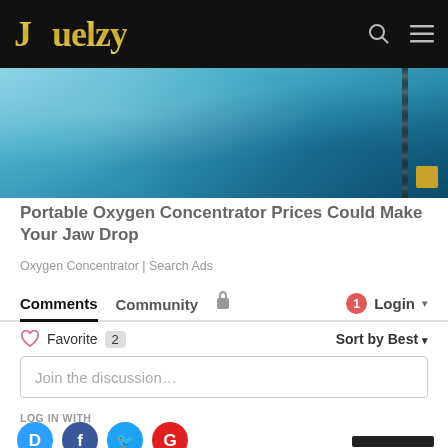Jouelzy
[Figure (photo): Partial view of a teal/blue colored object, possibly a product or container, close-up photo]
Portable Oxygen Concentrator Prices Could Make Your Jaw Drop
Oxygen Concentrator | Search Ads
Comments  Community  🔒  1  Login
♡ Favorite  2  Sort by Best
Join the discussion...
LOG IN WITH
OR SIGN UP WITH DISQUS  ?